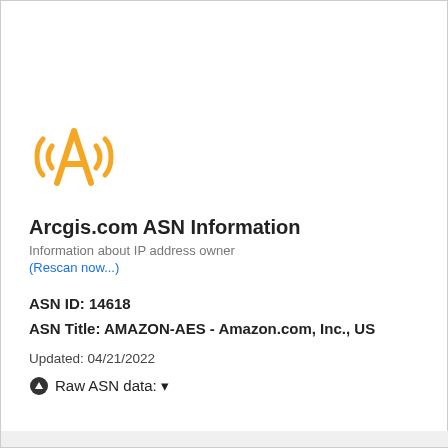[Figure (illustration): Yellow wireless/broadcast antenna icon with signal waves on both sides, styled as a letter A with radiating lines]
Arcgis.com ASN Information
Information about IP address owner
(Rescan now...)
ASN ID: 14618
ASN Title: AMAZON-AES - Amazon.com, Inc., US
Updated: 04/21/2022
⊙ Raw ASN data: ▼